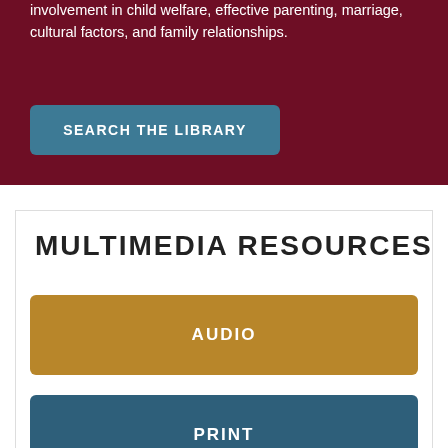involvement in child welfare, effective parenting, marriage, cultural factors, and family relationships.
[Figure (other): Button labeled SEARCH THE LIBRARY on dark red background]
MULTIMEDIA RESOURCES
[Figure (other): Button labeled AUDIO on golden/tan background]
[Figure (other): Button labeled PRINT on dark teal/steel-blue background]